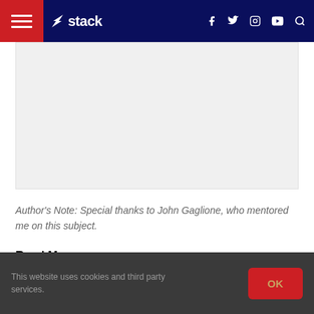stack
[Figure (photo): Gray placeholder image area for an article photo]
Author's Note: Special thanks to John Gaglione, who mentored me on this subject.
Read More:
Calculating Your One-Rep Max
4 Ways You May Be Unknowingly Sabotaging Your Training Progress
This website uses cookies and third party services.